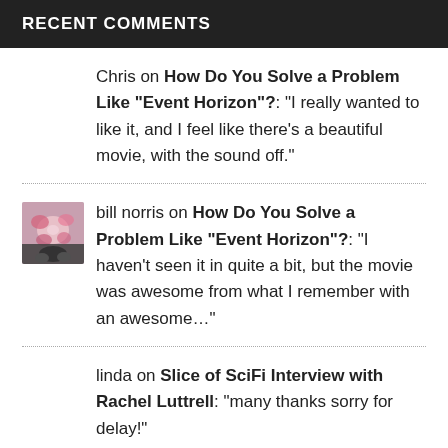RECENT COMMENTS
Chris on How Do You Solve a Problem Like “Event Horizon”?: “I really wanted to like it, and I feel like there’s a beautiful movie, with the sound off.”
bill norris on How Do You Solve a Problem Like “Event Horizon”?: “I haven't seen it in quite a bit, but the movie was awesome from what I remember with an awesome…”
linda on Slice of SciFi Interview with Rachel Luttrell: “many thanks sorry for delay!”
CassandraT on Aquaman vs Namor: “I don’t